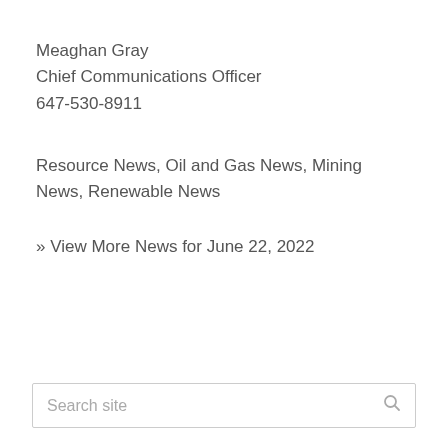Meaghan Gray
Chief Communications Officer
647-530-8911
Resource News, Oil and Gas News, Mining News, Renewable News
» View More News for June 22, 2022
Search site